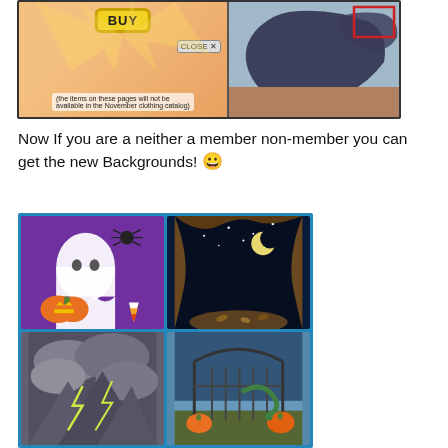[Figure (screenshot): Comic strip screenshot showing a Halloween-themed Club Penguin catalog page with a BUY button, CLOSE button, and a note saying '(the items on these pages will not be available in the November clothing catalog)']
Now If you are a neither a member non-member you can get the new Backgrounds! 😀
[Figure (screenshot): A 2x2 grid of Halloween backgrounds on a blue background: top-left shows a ghost and pumpkin on purple, top-right shows a night cave scene, bottom-left shows a lightning storm, bottom-right shows a graveyard with pumpkins]